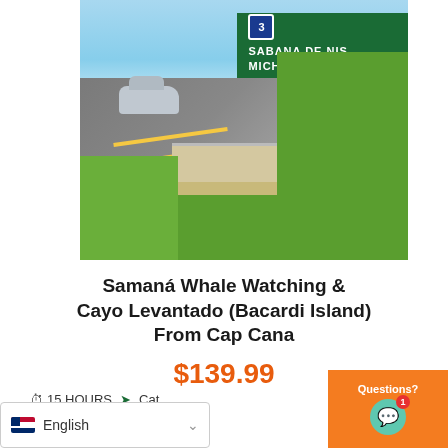[Figure (photo): A highway road in the Dominican Republic with a car traveling, a green highway sign showing Route 3, SABANA DE NIS..., MICHES, SABANA DE LA... destinations, guardrail, grass, and blue sky.]
Samaná Whale Watching & Cayo Levantado (Bacardi Island) From Cap Cana
$139.99
⏱ 15 HOURS ✈ Category: Tour
Questions?
English